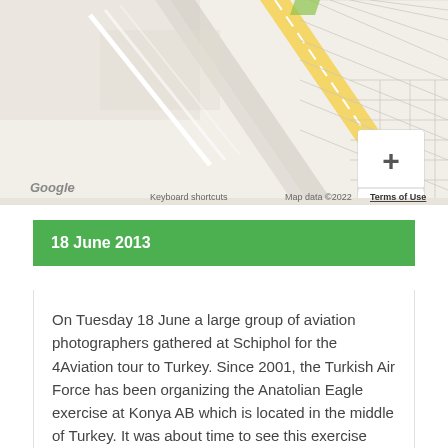[Figure (map): Google Maps view showing roads and terrain near Konya, Turkey. Map includes zoom controls (+/-), Google logo, keyboard shortcuts label, map data copyright 2022, and Terms of Use link.]
18 June 2013
On Tuesday 18 June a large group of aviation photographers gathered at Schiphol for the 4Aviation tour to Turkey. Since 2001, the Turkish Air Force has been organizing the Anatolian Eagle exercise at Konya AB which is located in the middle of Turkey. It was about time to see this exercise from close by. A total of 27 people travelled to Turkey from different locations, to